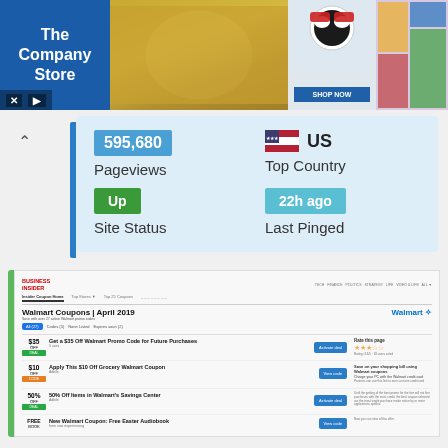[Figure (screenshot): Advertisement banner for The Company Store with product images and Shop Now button]
595,680
Pageviews
US
Top Country
Up
Site Status
22h ago
Last Pinged
[Figure (screenshot): Screenshot of Business Insider page showing Walmart Coupons April 2019 with deal listings for $35 off, $10 off, 50% off, and Free Book offers with Activate Deal and View Code buttons]